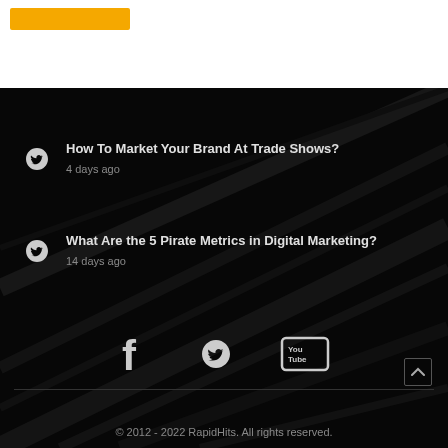[Figure (other): Orange button/banner at top of page on white background]
How To Market Your Brand At Trade Shows?
4 days ago
What Are the 5 Pirate Metrics in Digital Marketing?
14 days ago
[Figure (other): Social media icons: Facebook, Twitter, YouTube]
© 2012 - 2022 RapidHits. All rights reserved.